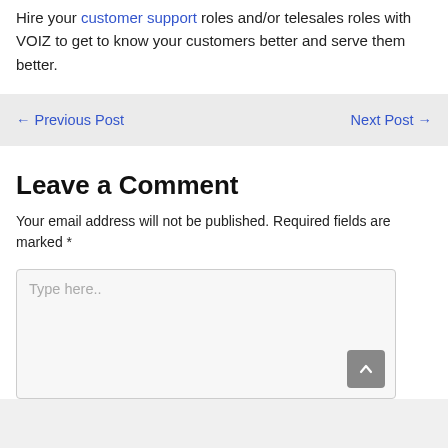Hire your customer support roles and/or telesales roles with VOIZ to get to know your customers better and serve them better.
← Previous Post    Next Post →
Leave a Comment
Your email address will not be published. Required fields are marked *
Type here..